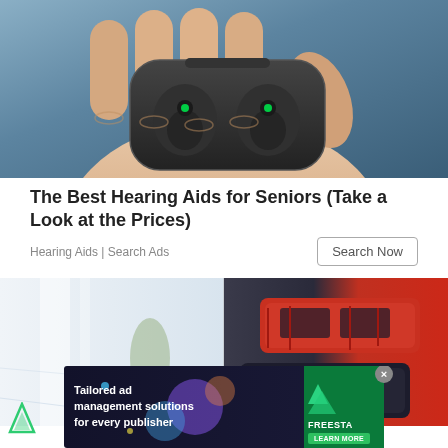[Figure (photo): A hand holding an open black earbuds charging case with two wireless earbuds inside, each with a small green LED indicator light, against a blue-grey background.]
The Best Hearing Aids for Seniors (Take a Look at the Prices)
Hearing Aids | Search Ads
[Figure (photo): Split image: left side shows a bright modern interior/showroom, right side shows red and dark colored cars (possibly trucks or SUVs) viewed from above.]
[Figure (screenshot): Banner advertisement for Freestar: 'Tailored ad management solutions for every publisher' with colorful graphic elements and a green LEARN MORE button, on a dark background.]